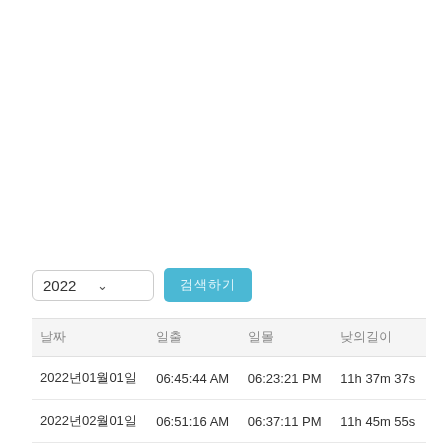[Figure (screenshot): A dropdown selector showing '2022' with a teal/blue search button next to it containing Korean text (검색하기 or similar).]
| 날짜 | 일출 | 일몰 | 낮의길이 |
| --- | --- | --- | --- |
| 2022년01월01일 | 06:45:44 AM | 06:23:21 PM | 11h 37m 37s |
| 2022년02월01일 | 06:51:16 AM | 06:37:11 PM | 11h 45m 55s |
| 2022년03월01일 | 06:43:37 AM | 06:41:44 PM | 11h 58m 7s |